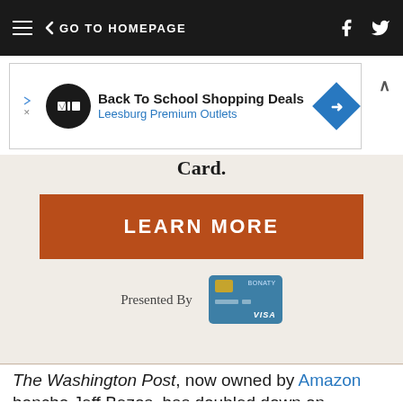GO TO HOMEPAGE
[Figure (screenshot): Advertisement banner: Back To School Shopping Deals - Leesburg Premium Outlets]
Card.
LEARN MORE
Presented By [credit card image]
The Washington Post, now owned by Amazon honcho Jeff Bezos, has doubled down on investigative journalism and is regularly breaking news out of DC's ever-increasing swamp. It's editor, Marty Baron, is perhaps the greatest